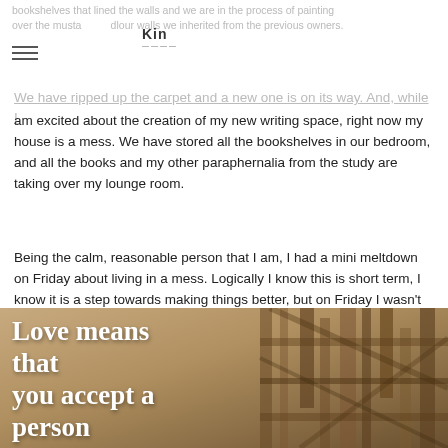bookshelves that lined the walls and we are in the process of painting over the musta Kin dlour walls we inherited from the previous owners.
We have ripped up the carpet and a new one is on its way. And, while I am excited about the creation of my new writing space, right now my house is a mess. We have stored all the bookshelves in our bedroom, and all the books and my other paraphernalia from the study are taking over my lounge room.
Being the calm, reasonable person that I am, I had a mini meltdown on Friday about living in a mess. Logically I know this is short term, I know it is a step towards making things better, but on Friday I wasn't logical or reasonable at all.
[Figure (photo): A sepia-toned image of wooden scaffolding or crates with overlaid large white serif text reading 'Love means that you accept a person']